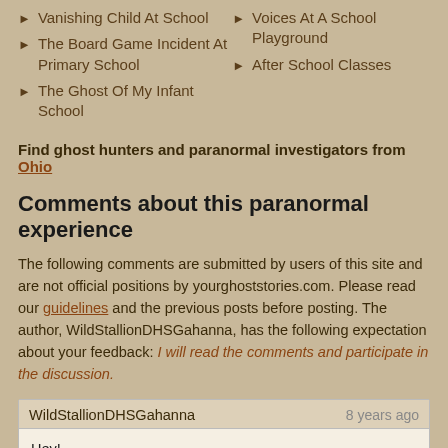Vanishing Child At School
The Board Game Incident At Primary School
The Ghost Of My Infant School
Voices At A School Playground
After School Classes
Find ghost hunters and paranormal investigators from Ohio
Comments about this paranormal experience
The following comments are submitted by users of this site and are not official positions by yourghoststories.com. Please read our guidelines and the previous posts before posting. The author, WildStallionDHSGahanna, has the following expectation about your feedback: I will read the comments and participate in the discussion.
WildStallionDHSGahanna
8 years ago

Hey!

Good question. I was terrified, but I was able to get a glimpse of its height because it was next to the vending machines so I had a reference point. As for it being nonhuman, I have no idea